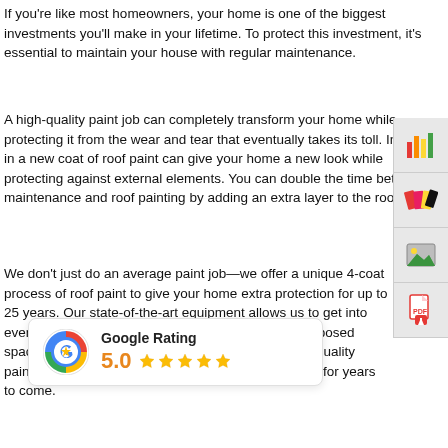If you're like most homeowners, your home is one of the biggest investments you'll make in your lifetime. To protect this investment, it's essential to maintain your house with regular maintenance.
A high-quality paint job can completely transform your home while protecting it from the wear and tear that eventually takes its toll. Investing in a new coat of roof paint can give your home a new look while protecting against external elements. You can double the time between maintenance and roof painting by adding an extra layer to the roof.
We don't just do an average paint job—we offer a unique 4-coat process of roof paint to give your home extra protection for up to 25 years. Our state-of-the-art equipment allows us to get into even the toughest corners, ensuring every inch of exposed space is painted over thoroughly. And by using high-quality paints, we ensure that your new coat of paint will last for years to come.
[Figure (other): Google Rating badge showing 5.0 stars with Google colored circle icon]